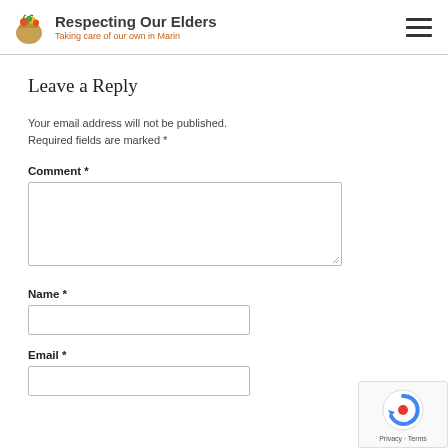Respecting Our Elders – Taking care of our own in Marin
Leave a Reply
Your email address will not be published. Required fields are marked *
Comment *
Name *
Email *